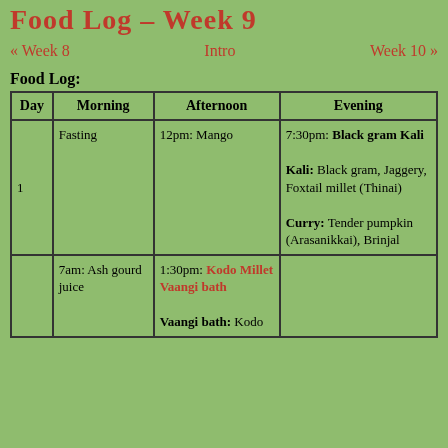Food Log – Week 9
« Week 8    Intro    Week 10 »
Food Log:
| Day | Morning | Afternoon | Evening |
| --- | --- | --- | --- |
| 1 | Fasting | 12pm: Mango | 7:30pm: Black gram Kali

Kali: Black gram, Jaggery, Foxtail millet (Thinai)

Curry: Tender pumpkin (Arasanikkai), Brinjal |
|  | 7am: Ash gourd juice | 1:30pm: Kodo Millet Vaangi bath

Vaangi bath: Kodo |  |